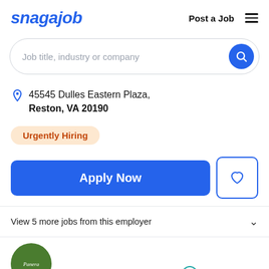snagajob   Post a Job
Job title, industry or company
45545 Dulles Eastern Plaza, Reston, VA 20190
Urgently Hiring
Apply Now
View 5 more jobs from this employer
[Figure (logo): Panera Bread logo (green circular logo)]
Great match